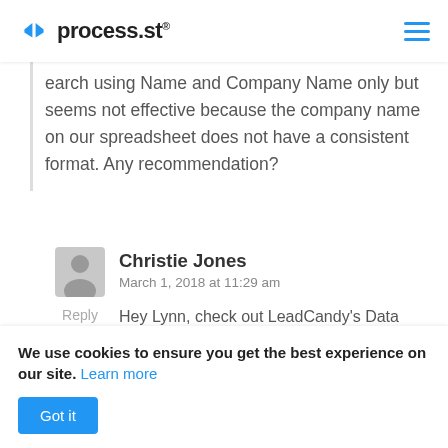process.st
search using Name and Company Name only but seems not effective because the company name on our spreadsheet does not have a consistent format. Any recommendation?
Christie Jones
March 1, 2018 at 11:29 am
Reply
Hey Lynn, check out LeadCandy's Data Enrichment feature –
https://www.leadcandy.io/data...
We use cookies to ensure you get the best experience on our site. Learn more
Got it